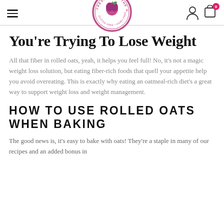Fresh From The Heart logo and navigation
You’re Trying To Lose Weight
All that fiber in rolled oats, yeah, it helps you feel full! No, it’s not a magic weight loss solution, but eating fiber-rich foods that quell your appetite help you avoid overeating. This is exactly why eating an oatmeal-rich diet’s a great way to support weight loss and weight management.
HOW TO USE ROLLED OATS WHEN BAKING
The good news is, it’s easy to bake with oats! They’re a staple in many of our recipes and an added bonus in